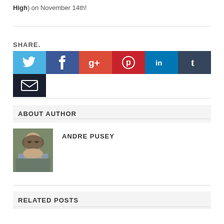High) on November 14th!
SHARE.
[Figure (infographic): Social share buttons: Twitter (blue bird icon), Facebook (dark blue f icon), Google+ (orange-red g+ icon), Pinterest (red p icon), LinkedIn (teal in icon), Tumblr (dark blue t icon), Email (dark envelope icon)]
ABOUT AUTHOR
[Figure (photo): Photo of Andre Pusey, a young man with brown hair and glasses, outdoors]
ANDRE PUSEY
RELATED POSTS